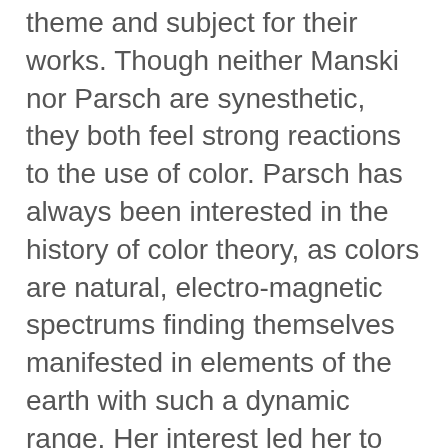theme and subject for their works. Though neither Manski nor Parsch are synesthetic, they both feel strong reactions to the use of color. Parsch has always been interested in the history of color theory, as colors are natural, electro-magnetic spectrums finding themselves manifested in elements of the earth with such a dynamic range. Her interest led her to the question: “What does it mean to hear color?”
The Hue of Silence began to develop organically as the pair discussed color